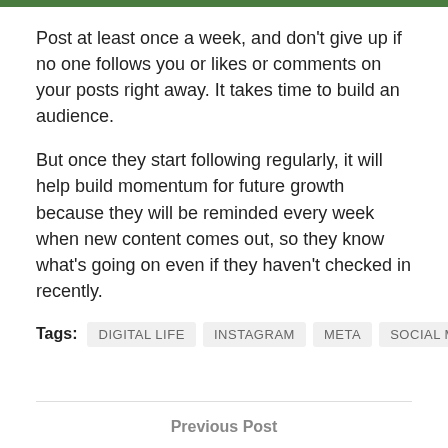Post at least once a week, and don't give up if no one follows you or likes or comments on your posts right away. It takes time to build an audience.
But once they start following regularly, it will help build momentum for future growth because they will be reminded every week when new content comes out, so they know what’s going on even if they haven’t checked in recently.
Tags: DIGITAL LIFE  INSTAGRAM  META  SOCIAL MEDIA
Previous Post